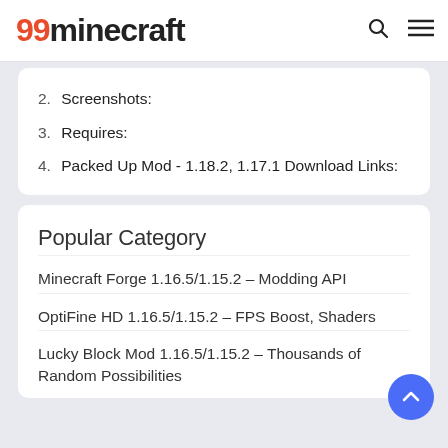99minecraft
2. Screenshots:
3. Requires:
4. Packed Up Mod - 1.18.2, 1.17.1 Download Links:
Popular Category
Minecraft Forge 1.16.5/1.15.2 – Modding API
OptiFine HD 1.16.5/1.15.2 – FPS Boost, Shaders
Lucky Block Mod 1.16.5/1.15.2 – Thousands of Random Possibilities